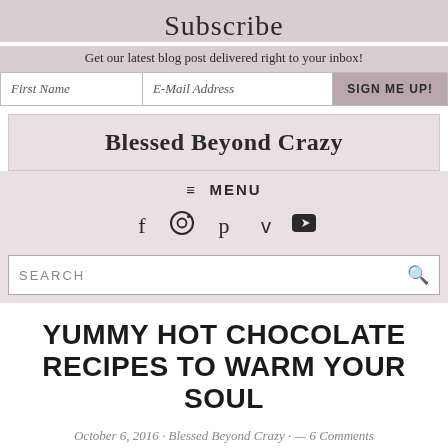Subscribe
Get our latest blog post delivered right to your inbox!
First Name | E-Mail Address | SIGN ME UP!
Blessed Beyond Crazy
≡ MENU
[Figure (other): Social media icons: Facebook, Instagram, Pinterest, Twitter, YouTube]
SEARCH
YUMMY HOT CHOCOLATE RECIPES TO WARM YOUR SOUL
October 6, 2016 · Blessed Beyond Crazy · — 6 Comments
There's something about cold weather that makes me